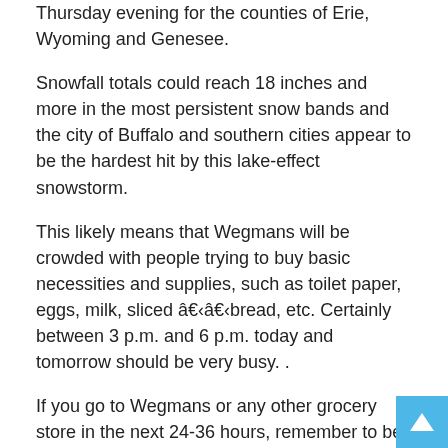Thursday evening for the counties of Erie, Wyoming and Genesee.
Snowfall totals could reach 18 inches and more in the most persistent snow bands and the city of Buffalo and southern cities appear to be the hardest hit by this lake-effect snowstorm.
This likely means that Wegmans will be crowded with people trying to buy basic necessities and supplies, such as toilet paper, eggs, milk, sliced â€‹â€‹bread, etc. Certainly between 3 p.m. and 6 p.m. today and tomorrow should be very busy. .
If you go to Wegmans or any other grocery store in the next 24-36 hours, remember to be kind and patient with the staff at those stores.
Shopping for groceries can be extremely stressful, especially when it has to be in a rush, in such a short time frame for busy schedules, but the employees at these local grocery stores do